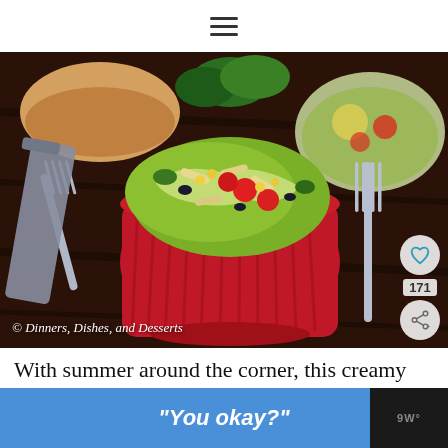≡
[Figure (photo): A red ramekin bowl filled with creamy avocado pasta salad with cherry tomatoes, corn, and black beans, placed on a dark wood table with a fork beside it and cherry tomatoes in the background. Copyright watermark: © Dinners, Dishes, and Desserts. Like count: 171.]
With summer around the corner, this creamy avocado pasta salad would bring to any barbecue or potluck.  Or to
[Figure (photo): WHAT'S NEXT → thumbnail image of Cucumber Tomato Sala...]
"You okay?"